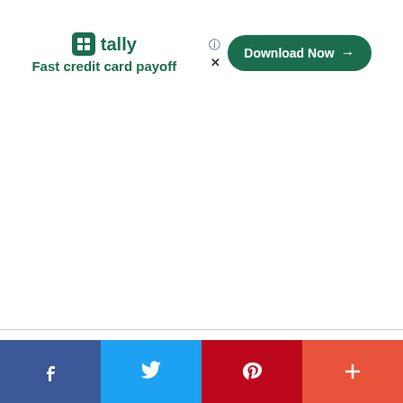[Figure (screenshot): Tally advertisement banner: logo with 'tally' text and 'Fast credit card payoff' tagline on the left, 'Download Now →' button in dark green rounded rectangle on the right, with help and close icons]
This is not a trash can
[Figure (photo): Partial photo of airplane overhead compartment interior]
[Figure (infographic): Social sharing bar with Facebook (blue), Twitter (light blue), Pinterest (red), and plus/more (coral-red) buttons]